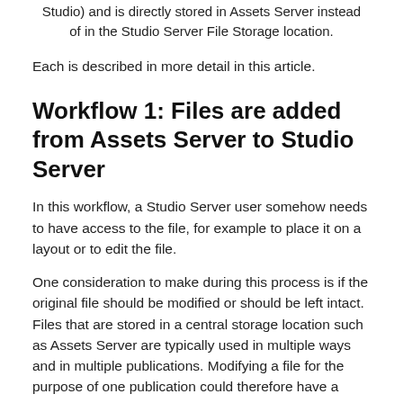Studio) and is directly stored in Assets Server instead of in the Studio Server File Storage location.
Each is described in more detail in this article.
Workflow 1: Files are added from Assets Server to Studio Server
In this workflow, a Studio Server user somehow needs to have access to the file, for example to place it on a layout or to edit the file.
One consideration to make during this process is if the original file should be modified or should be left intact. Files that are stored in a central storage location such as Assets Server are typically used in multiple ways and in multiple publications. Modifying a file for the purpose of one publication could therefore have a direct effect on all other publications in which that file is used.
Another consideration to make is whether it should be